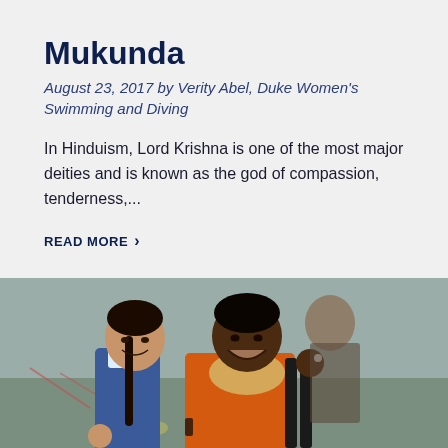Mukunda
August 23, 2017 by Verity Abel, Duke Women's Swimming and Diving
In Hinduism, Lord Krishna is one of the most major deities and is known as the god of compassion, tenderness,...
READ MORE >
[Figure (photo): Two young women posing together making peace signs. One is a young Indian girl in a blue and white school uniform with a braid, and the other is a Black woman wearing an orange top and a yellow scarf, smiling broadly at the camera.]